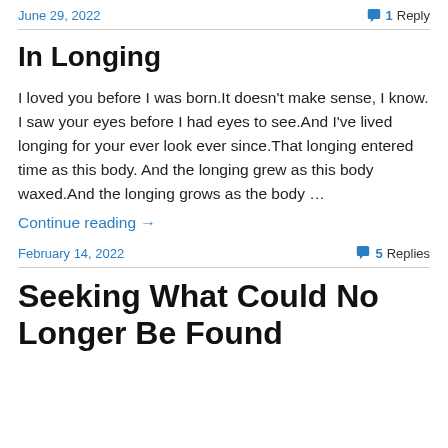June 29, 2022   1 Reply
In Longing
I loved you before I was born.It doesn't make sense, I know. I saw your eyes before I had eyes to see.And I've lived longing for your ever look ever since.That longing entered time as this body. And the longing grew as this body waxed.And the longing grows as the body …
Continue reading →
February 14, 2022   5 Replies
Seeking What Could No Longer Be Found